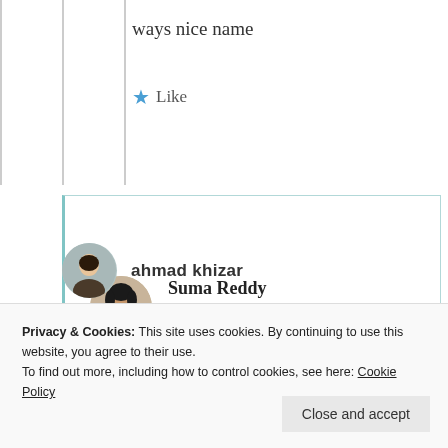ways nice name
★ Like
Suma Reddy
26th Jun 2021 at 10:08 pm
Thank you 😊
Privacy & Cookies: This site uses cookies. By continuing to use this website, you agree to their use. To find out more, including how to control cookies, see here: Cookie Policy
Close and accept
ahmad khizar